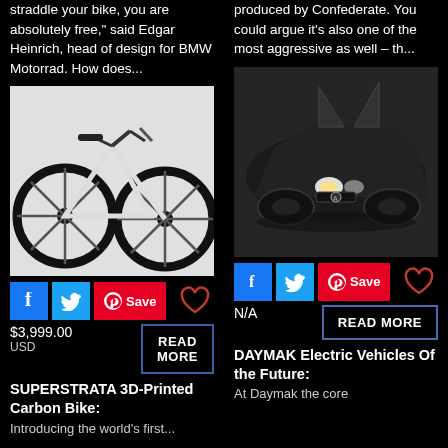straddle your bike, you are absolutely free," said Edgar Heinrich, head of design for BMW Motorrad. How does...
[Figure (photo): White 3D-printed carbon road bicycle with black wheels and components on a white/light grey background]
Social sharing buttons: Facebook, Twitter, Pinterest Save, Heart (favorite)
$3,999.00 USD    READ MORE
SUPERSTRATA 3D-Printed Carbon Bike:
Introducing the world's first...
produced by Confederate. You could argue it's also one of the most aggressive as well – th...
[Figure (photo): Dark matte black futuristic electric vehicle with scissor doors open upward and headlights on, photographed against a dark background]
Social sharing buttons: Facebook, Twitter, Pinterest Save, Heart (favorite)
N/A    READ MORE
DAYMAK Electric Vehicles Of the Future:
At Daymak the core